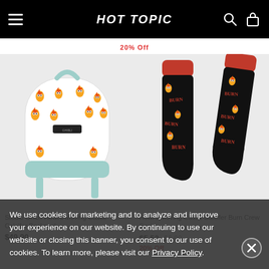HOT TOPIC
20% Off
[Figure (photo): Studio Ghibli Howl's Moving Castle Calcifer backpack with white background covered in Calcifer flame character pattern, with mint/teal straps and bottom panel]
[Figure (photo): Howl's Moving Castle Calcifer Burn Crew Socks - black socks with red cuff and Calcifer flame characters with 'BURN' text pattern]
Studio Ghibli Howl's Moving Castle Calcifer Backpack $49.90
Howl's Moving Castle Calcifer Burn Crew Socks $5.52 $6.90 20% Off
We use cookies for marketing and to analyze and improve your experience on our website. By continuing to use our website or closing this banner, you consent to our use of cookies. To learn more, please visit our Privacy Policy.